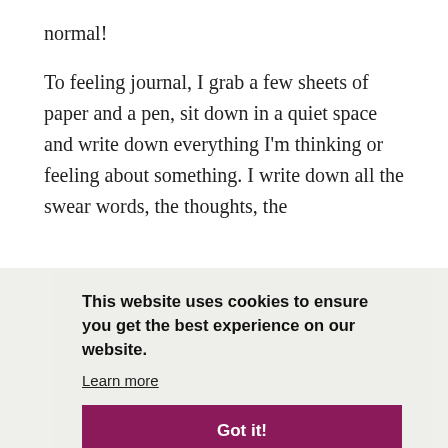normal!
To feeling journal, I grab a few sheets of paper and a pen, sit down in a quiet space and write down everything I'm thinking or feeling about something. I write down all the swear words, the thoughts, the f[eeling, then...] [partially obscured text]
This website uses cookies to ensure you get the best experience on our website. Learn more Got it!